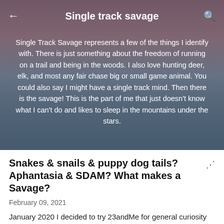Single track savage
Single Track Savage represents a few of the things I identify with. There is just something about the freedom of running on a trail and being in the woods. I also love hunting deer, elk, and most any fair chase big or small game animal. You could also say I might have a single track mind. Then there is the savage! This is the part of me that just doesn't know what I can't do and likes to sleep in the mountains under the stars.
Snakes & snails & puppy dog tails? Aphantasia & SDAM? What makes a Savage?
February 09, 2021
January 2020 I decided to try 23andMe for general curiosity and to use the raw data for workout and diet tweaking.  Little did I know...